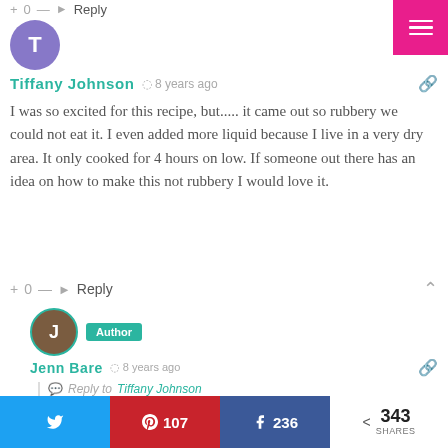[Figure (other): Pink hamburger menu button in top-right corner]
[Figure (other): Purple circular avatar with letter T for Tiffany Johnson]
Tiffany Johnson  8 years ago
I was so excited for this recipe, but..... it came out so rubbery we could not eat it. I even added more liquid because I live in a very dry area. It only cooked for 4 hours on low. If someone out there has an idea on how to make this not rubbery I would love it.
+ 0 —  Reply
[Figure (other): Brown circular avatar with letter J for Jenn Bare, with Author badge]
Jenn Bare  8 years ago
Reply to Tiffany Johnson
Tiffany "Oh no"… I make this at least twice a month
[Figure (other): Social share bar with Twitter, Pinterest 107, Facebook 236, and 343 SHARES]